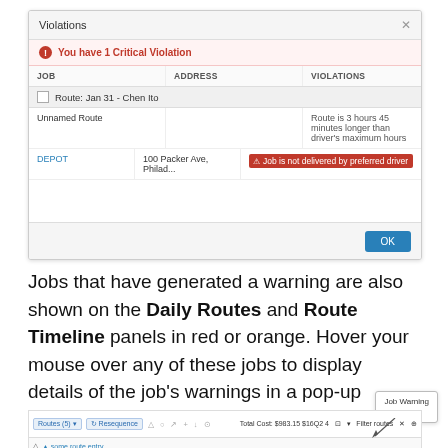[Figure (screenshot): Violations dialog box showing 1 Critical Violation with a table listing JOB, ADDRESS, VIOLATIONS columns. Route: Jan 31 - Chen Ho row, Unnamed Route with 'Route is 3 hours 45 minutes longer than driver's maximum hours', DEPOT at 100 Packer Ave, Philad... with red badge 'Job is not delivered by preferred driver'. OK button at bottom right.]
Jobs that have generated a warning are also shown on the Daily Routes and Route Timeline panels in red or orange. Hover your mouse over any of these jobs to display details of the job's warnings in a pop-up window:
[Figure (screenshot): Bottom toolbar screenshot showing Routes (5) dropdown, Resequence button, plus other toolbar icons, Total Cost $983.15 $16Q2 4, Filter routes field. A 'Job Warning Details' popup tooltip visible at top right.]